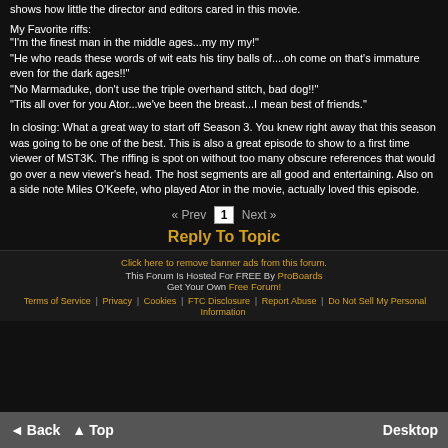shows how little the director and editors cared in this movie.
My Favorite riffs:
"I'm the finest man in the middle ages...my my my!"
"He who reads these words of wit eats his tiny balls of....oh come on that's immature even for the dark ages!!"
"No Marmaduke, don't use the triple overhand stitch, bad dog!!"
"Tits all over for you Ator...we've been the breast...I mean best of friends."
In closing: What a great way to start off Season 3. You knew right away that this season was going to be one of the best. This is also a great episode to show to a first time viewer of MST3K. The riffing is spot on without too many obscure references that would go over a new viewer's head. The host segments are all good and entertaining. Also on a side note Miles O'Keefe, who played Ator in the movie, actually loved this episode.
« Prev  1  Next »
Reply To Topic
Click here to remove banner ads from this forum.
This Forum Is Hosted For FREE By ProBoards
Get Your Own Free Forum!
Terms of Service | Privacy | Cookies | FTC Disclosure | Report Abuse | Do Not Sell My Personal Information
◄ Back  ▲ Top  Desktop